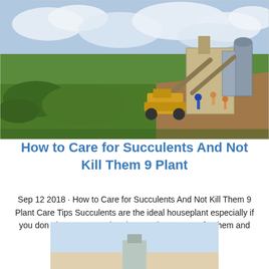[Figure (photo): Outdoor construction/mining scene with heavy equipment, conveyor belts, workers in safety gear, surrounded by green vegetation under a cloudy sky.]
How to Care for Succulents And Not Kill Them 9 Plant
Sep 12 2018 · How to Care for Succulents And Not Kill Them 9 Plant Care Tips Succulents are the ideal houseplant especially if you don t have a green thumb Learn how to care for them and keep your plants
[Figure (photo): Partial bottom image, partially visible, appears to show a plant-related scene.]